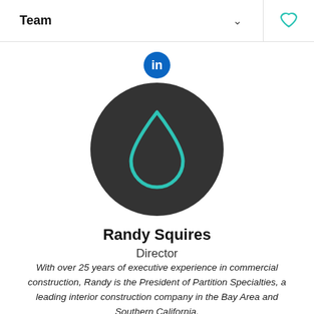Team
[Figure (logo): LinkedIn icon - circular blue badge with 'in' text in white]
[Figure (illustration): Dark circular profile avatar with teal water drop / raindrop outline icon in center]
Randy Squires
Director
With over 25 years of executive experience in commercial construction, Randy is the President of Partition Specialties, a leading interior construction company in the Bay Area and Southern California.
Under Randy's leadership, Partition Specialties has grown into a multi-million dollar company specializing in the